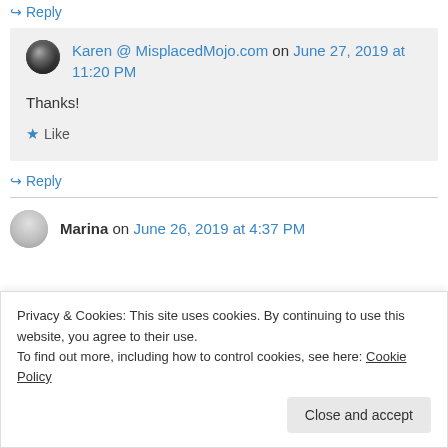↪ Reply
Karen @ MisplacedMojo.com on June 27, 2019 at 11:20 PM
Thanks!
★ Like
↪ Reply
Marina on June 26, 2019 at 4:37 PM
Privacy & Cookies: This site uses cookies. By continuing to use this website, you agree to their use.
To find out more, including how to control cookies, see here: Cookie Policy
Close and accept